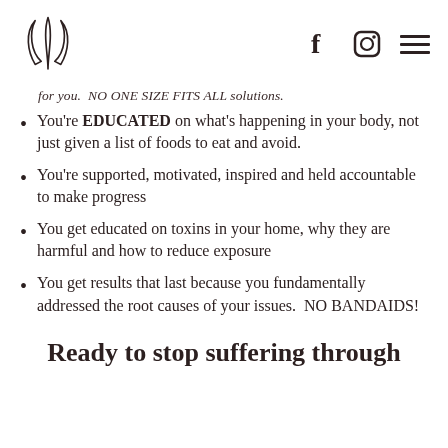Logo and social icons (Facebook, Instagram, hamburger menu)
for you.  NO ONE SIZE FITS ALL solutions.
You're EDUCATED on what's happening in your body, not just given a list of foods to eat and avoid.
You're supported, motivated, inspired and held accountable to make progress
You get educated on toxins in your home, why they are harmful and how to reduce exposure
You get results that last because you fundamentally addressed the root causes of your issues.  NO BANDAIDS!
Ready to stop suffering through